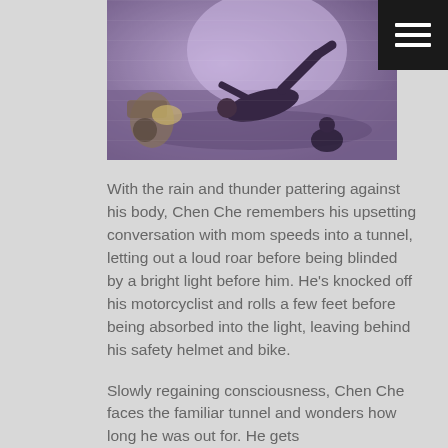[Figure (photo): A surveillance-camera still showing a person lying on a road surface after being knocked off a motorcycle, with another figure crouching nearby and a motorcycle visible to the left. The image has a purple-blue tint typical of CCTV footage.]
With the rain and thunder pattering against his body, Chen Che remembers his upsetting conversation with mom speeds into a tunnel, letting out a loud roar before being blinded by a bright light before him. He's knocked off his motorcyclist and rolls a few feet before being absorbed into the light, leaving behind his safety helmet and bike.
Slowly regaining consciousness, Chen Che faces the familiar tunnel and wonders how long he was out for. He gets